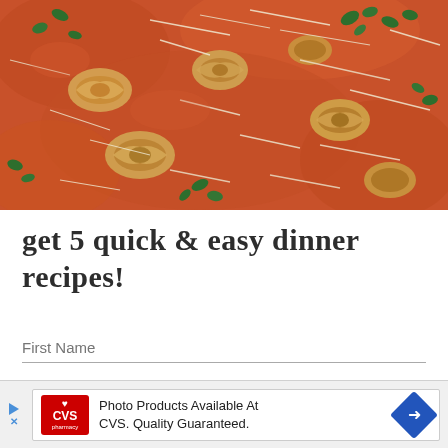[Figure (photo): Close-up photo of tortellini pasta soup in a tomato cream sauce, garnished with shredded parmesan cheese and chopped fresh basil, served in a bowl]
get 5 quick & easy dinner recipes!
First Name
Email
[Figure (other): CVS Pharmacy advertisement banner reading 'Photo Products Available At CVS. Quality Guaranteed.' with CVS logo on left and blue diamond arrow on right]